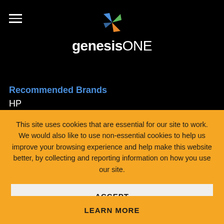[Figure (logo): genesisONE logo with colorful pinwheel icon above text]
Recommended Brands
HP
This site uses cookies that are essential for our site to work. We would also like to use non-essential cookies to help us improve your browsing experience and help make this website better, by collecting and reporting information on how you use our site.
ACCEPT
LEARN MORE